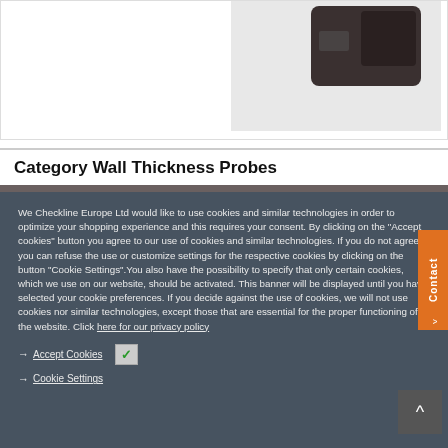[Figure (photo): Product image area showing a dark electronic device (wall thickness probe) on white/grey background]
Category Wall Thickness Probes
We Checkline Europe Ltd would like to use cookies and similar technologies in order to optimize your shopping experience and this requires your consent. By clicking on the "Accept cookies" button you agree to our use of cookies and similar technologies. If you do not agree, you can refuse the use or customize settings for the respective cookies by clicking on the button "Cookie Settings".You also have the possibility to specify that only certain cookies, which we use on our website, should be activated. This banner will be displayed until you have selected your cookie preferences. If you decide against the use of cookies, we will not use cookies nor similar technologies, except those that are essential for the proper functioning of the website. Click here for our privacy policy
→ Accept Cookies ✓
→ Cookie Settings